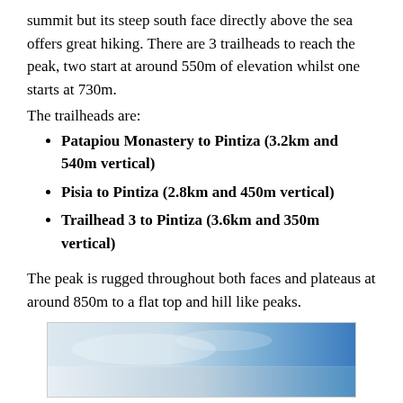summit but its steep south face directly above the sea offers great hiking. There are 3 trailheads to reach the peak, two start at around 550m of elevation whilst one starts at 730m.
The trailheads are:
Patapiou Monastery to Pintiza (3.2km and 540m vertical)
Pisia to Pintiza (2.8km and 450m vertical)
Trailhead 3 to Pintiza (3.6km and 350m vertical)
The peak is rugged throughout both faces and plateaus at around 850m to a flat top and hill like peaks.
[Figure (photo): Partial photo showing a blue-sky and mountain scene, visible at bottom of page (cropped).]